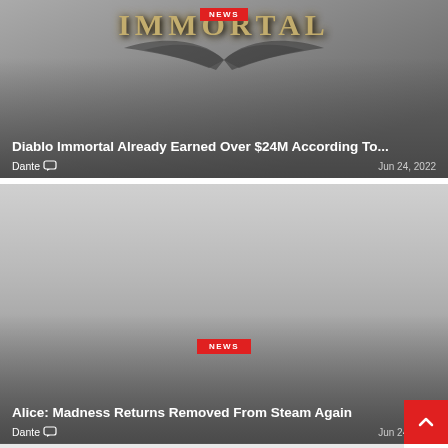[Figure (screenshot): Diablo Immortal game screenshot with stylized golden text IMMORTAL and dark wing decoration on grey background]
Diablo Immortal Already Earned Over $24M According To...
Dante  Jun 24, 2022
[Figure (screenshot): Alice: Madness Returns game screenshot - grey gradient background with NEWS badge in center]
Alice: Madness Returns Removed From Steam Again
Dante  Jun 24, 2022